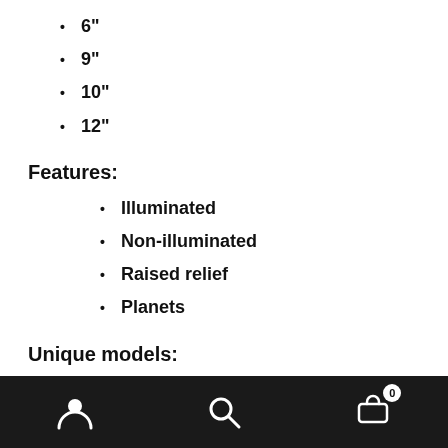6"
9"
10"
12"
Features:
Illuminated
Non-illuminated
Raised relief
Planets
Unique models:
Wonder globe 4.3" Moon
Navigation bar with user, search, and cart icons